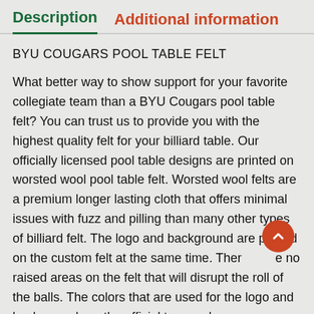Description   Additional information
BYU COUGARS POOL TABLE FELT
What better way to show support for your favorite collegiate team than a BYU Cougars pool table felt? You can trust us to provide you with the highest quality felt for your billiard table. Our officially licensed pool table designs are printed on worsted wool pool table felt. Worsted wool felts are a premium longer lasting cloth that offers minimal issues with fuzz and pilling than many other types of billiard felt. The logo and background are printed on the custom felt at the same time. There no raised areas on the felt that will disrupt the roll of the balls. The colors that are used for the logo and background are the official team colors.